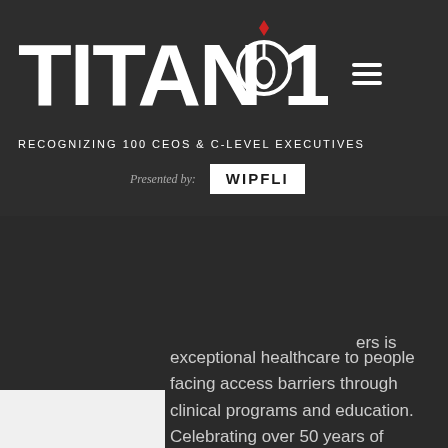[Figure (logo): Titan 100 logo with Spartan helmet, text TITAN 100, tagline RECOGNIZING 100 CEOs & C-LEVEL EXECUTIVES, Presented by WIPFLI]
exceptional healthcare to people facing access barriers through clinical programs and education. Celebrating over 50 years of community health service, Peak Vista offers primary medical, integrated behavioral health and dental healthcare services. It serves over 89,000 patients annually through several outpatient centers in Colorado's Pikes Peak and East Central regions.
Nartker got his start in healthcare as a registered physical therapy assistant and athletic trainer. It was in that role that he saw the difference in care for patients